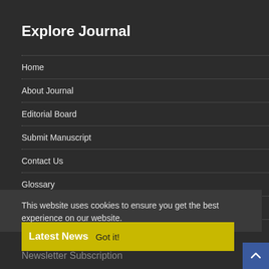Explore Journal
Home
About Journal
Editorial Board
Submit Manuscript
Contact Us
Glossary
Hard Copy Subscription
Sitemap
This website uses cookies to ensure you get the best experience on our website.
Latest News  Got it!
Newsletter Subscription